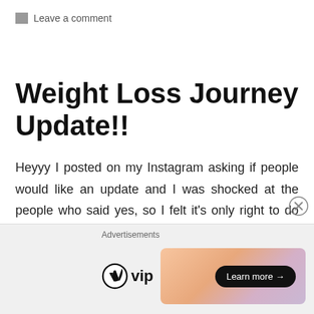Leave a comment
Weight Loss Journey Update!!
Heyyy I posted on my Instagram asking if people would like an update and I was shocked at the people who said yes, so I felt it's only right to do this. This is also my most viewed “series” on my blog for some reason so hopefully you enjoy this little update. It comes at
[Figure (other): Advertisement banner with WordPress VIP logo and a gradient banner with 'Learn more' button and a close (X) button]